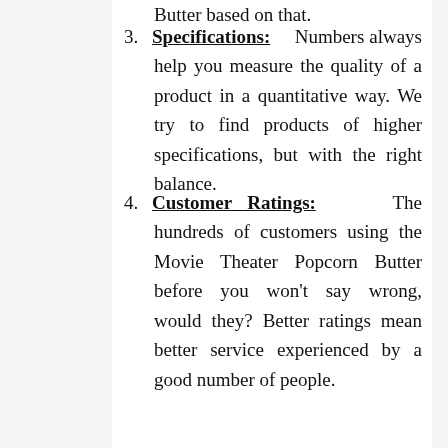Specifications: Numbers always help you measure the quality of a product in a quantitative way. We try to find products of higher specifications, but with the right balance.
Customer Ratings: The hundreds of customers using the Movie Theater Popcorn Butter before you won't say wrong, would they? Better ratings mean better service experienced by a good number of people.